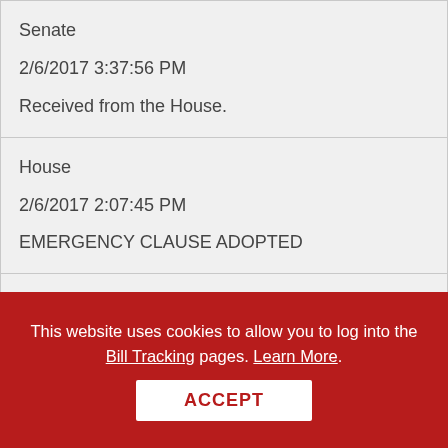| Senate | 2/6/2017 3:37:56 PM | Received from the House. |
| House | 2/6/2017 2:07:45 PM | EMERGENCY CLAUSE ADOPTED |
| House | 2/6/2017 2:05:31 PM |  |
This website uses cookies to allow you to log into the Bill Tracking pages. Learn More.
ACCEPT